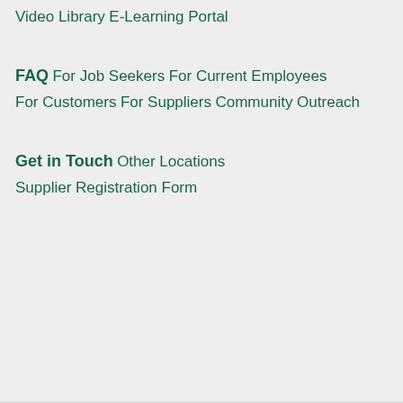Video Library
E-Learning Portal
FAQ
For Job Seekers
For Current Employees
For Customers
For Suppliers
Community Outreach
Get in Touch
Other Locations
Supplier Registration Form